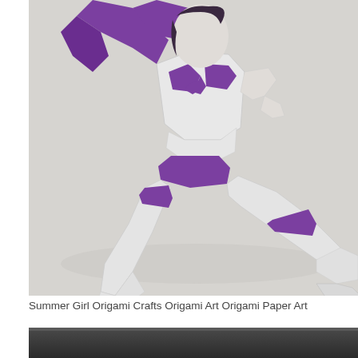[Figure (photo): An origami paper figure of a girl/woman dressed in purple bikini top and bottoms with purple cape/hair and white body, posed in a seated position on a light gray background. The origami figure has carefully folded paper legs extended outward.]
Summer Girl Origami Crafts Origami Art Origami Paper Art
[Figure (photo): Partial view of a dark gray/black gradient background, bottom of another image.]